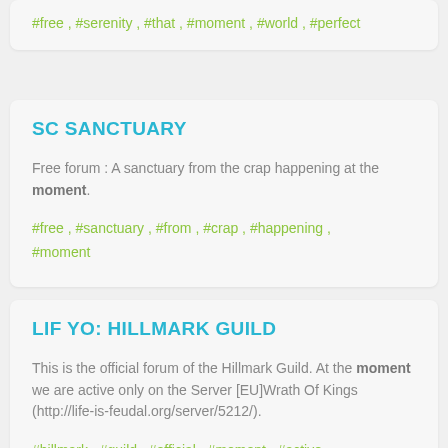#free , #serenity , #that , #moment , #world , #perfect
SC SANCTUARY
Free forum : A sanctuary from the crap happening at the moment.
#free , #sanctuary , #from , #crap , #happening , #moment
LIF YO: HILLMARK GUILD
This is the official forum of the Hillmark Guild. At the moment we are active only on the Server [EU]Wrath Of Kings (http://life-is-feudal.org/server/5212/).
#hillmark , #guild , #official , #moment , #active , #server , #[eu]wrath , #kings , #(http , #//life-is-feudal , #org/server/5